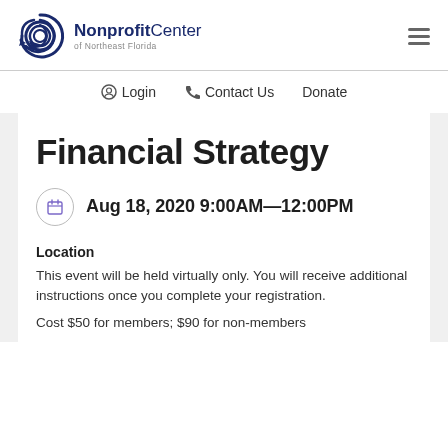[Figure (logo): Nonprofit Center of Northeast Florida logo with blue spiral icon and bold text]
Login   Contact Us   Donate
Financial Strategy
Aug 18, 2020 9:00AM—12:00PM
Location
This event will be held virtually only. You will receive additional instructions once you complete your registration.
Cost $50 for members; $90 for non-members